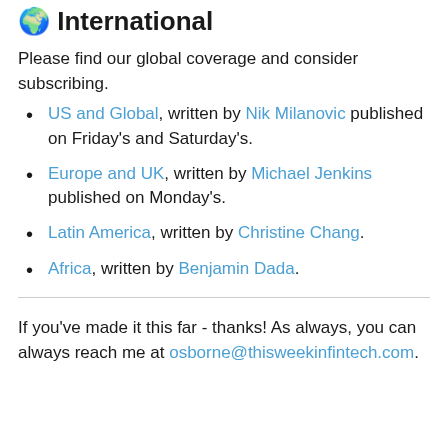🌍 International
Please find our global coverage and consider subscribing.
US and Global, written by Nik Milanovic published on Friday's and Saturday's.
Europe and UK, written by Michael Jenkins published on Monday's.
Latin America, written by Christine Chang.
Africa, written by Benjamin Dada.
If you've made it this far - thanks! As always, you can always reach me at osborne@thisweekinfintech.com.